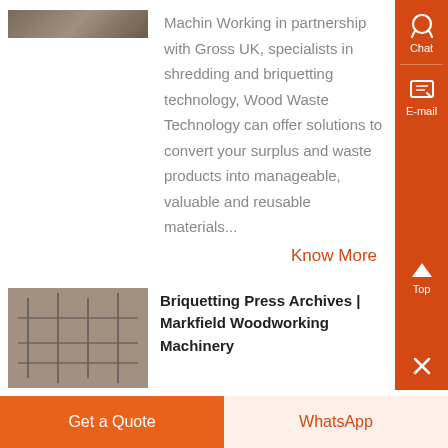[Figure (photo): Woodworking machinery or industrial equipment, partial top image]
Machin Working in partnership with Gross UK, specialists in shredding and briquetting technology, Wood Waste Technology can offer solutions to convert your surplus and waste products into manageable, valuable and reusable materials...
Know More
[Figure (photo): Industrial briquetting press or woodworking machinery at Markfield]
Briquetting Press Archives | Markfield Woodworking Machinery